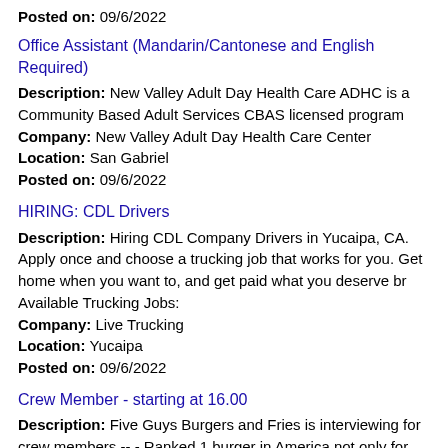Posted on: 09/6/2022
Office Assistant (Mandarin/Cantonese and English Required)
Description: New Valley Adult Day Health Care ADHC is a Community Based Adult Services CBAS licensed program
Company: New Valley Adult Day Health Care Center
Location: San Gabriel
Posted on: 09/6/2022
HIRING: CDL Drivers
Description: Hiring CDL Company Drivers in Yucaipa, CA. Apply once and choose a trucking job that works for you. Get home when you want to, and get paid what you deserve br Available Trucking Jobs:
Company: Live Trucking
Location: Yucaipa
Posted on: 09/6/2022
Crew Member - starting at 16.00
Description: Five Guys Burgers and Fries is interviewing for crew members.-- - Ranked 1 burger in America not only for our delicious food but also for our exceptional employees.We have a unique work environment and (more...)